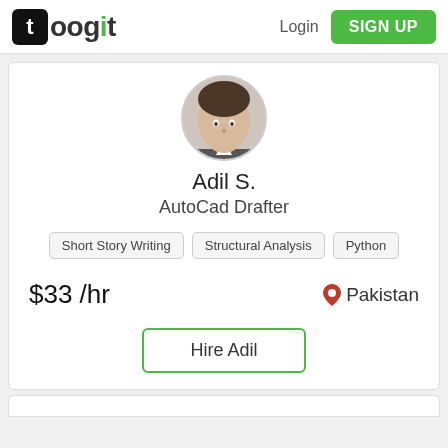[Figure (logo): Toogit logo with black square icon containing lowercase t with green dot, followed by toogit text in dark and green colors]
Login
SIGN UP
[Figure (photo): Profile photo of Adil S., a man in a suit, cropped circular]
Adil S.
AutoCad Drafter
Short Story Writing
Structural Analysis
Python
$33 /hr
Pakistan
Hire Adil